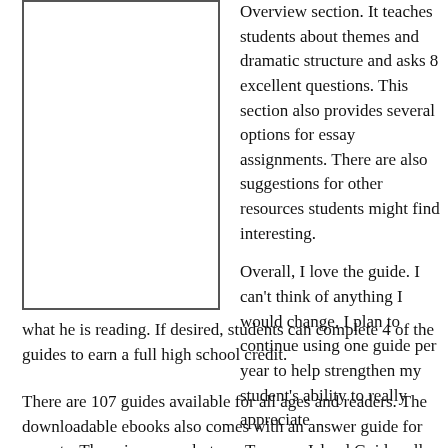[Figure (other): Blank framed box, likely a book cover image placeholder]
Overview section. It teaches students about themes and dramatic structure and asks 8 excellent questions. This section also provides several options for essay assignments. There are also suggestions for other resources students might find interesting.

Overall, I love the guide. I can't think of anything I would change. I plan to continue using one guide per year to help strengthen my student's ability to really appreciate what he is reading. If desired, students can complete 4 of the guides to earn a full high school credit.
There are 107 guides available for all ages and readers. The downloadable ebooks also comes with an answer guide for parents. The prices vary, but our Treasure Island Guide sells for $16.99 for